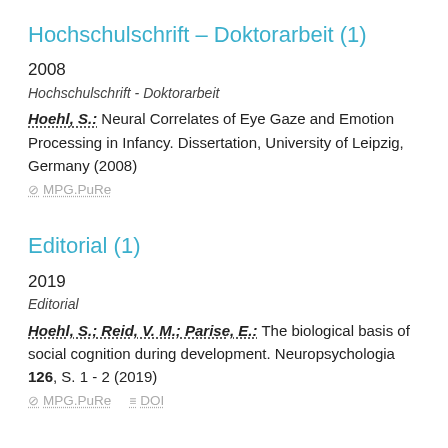Hochschulschrift – Doktorarbeit (1)
2008
Hochschulschrift - Doktorarbeit
Hoehl, S.: Neural Correlates of Eye Gaze and Emotion Processing in Infancy. Dissertation, University of Leipzig, Germany (2008)
⊘ MPG.PuRe
Editorial (1)
2019
Editorial
Hoehl, S.; Reid, V. M.; Parise, E.: The biological basis of social cognition during development. Neuropsychologia 126, S. 1 - 2 (2019)
⊘ MPG.PuRe   ≡ DOI